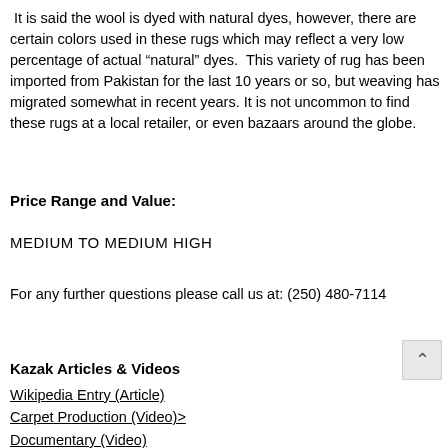It is said the wool is dyed with natural dyes, however, there are certain colors used in these rugs which may reflect a very low percentage of actual “natural” dyes.  This variety of rug has been imported from Pakistan for the last 10 years or so, but weaving has migrated somewhat in recent years. It is not uncommon to find these rugs at a local retailer, or even bazaars around the globe.
Price Range and Value:
MEDIUM TO MEDIUM HIGH
For any further questions please call us at: (250) 480-7114
Kazak Articles & Videos
Wikipedia Entry (Article)
Carpet Production (Video)>
Documentary (Video)